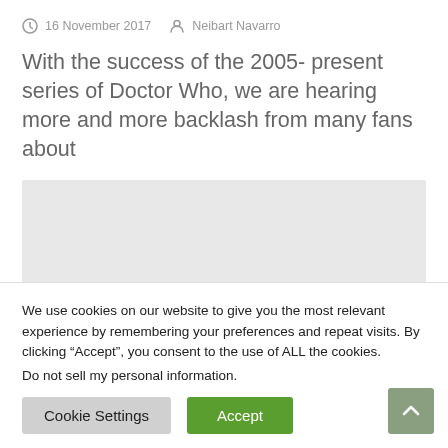16 November 2017  Neibart Navarro
With the success of the 2005- present series of Doctor Who, we are hearing more and more backlash from many fans about
[Figure (other): Light gray rectangular image placeholder area]
We use cookies on our website to give you the most relevant experience by remembering your preferences and repeat visits. By clicking “Accept”, you consent to the use of ALL the cookies.
Do not sell my personal information.